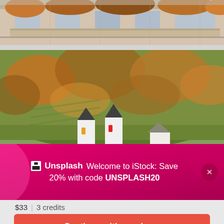[Figure (photo): Top portion of a multi-story residential building with balconies, surrounded by autumn trees]
[Figure (photo): European hillside town with white church towers and autumn foliage on steep slopes]
🔲 Unsplash  Welcome to iStock: Save 20% with code UNSPLASH20
$33 | 3 credits
Continue with purchase